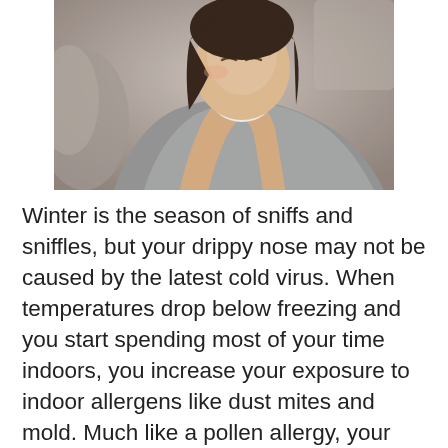[Figure (photo): A woman with dark hair wrapped in a grey blanket blowing her nose into a white tissue, sitting on a couch/sofa background.]
Winter is the season of sniffs and sniffles, but your drippy nose may not be caused by the latest cold virus. When temperatures drop below freezing and you start spending most of your time indoors, you increase your exposure to indoor allergens like dust mites and mold. Much like a pollen allergy, your body may identify these foreign invaders as harmful substances and trigger an immune response. This means you develop a host of cold-like symptoms, including runny nose, watery eyes,